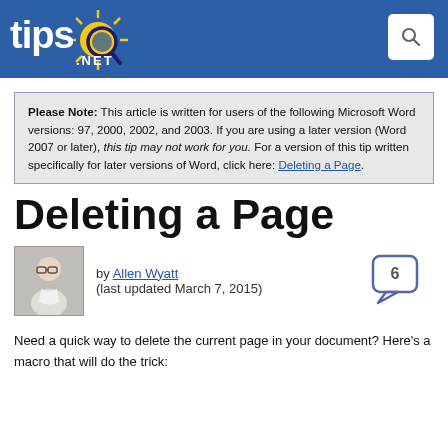tips.NET
Please Note: This article is written for users of the following Microsoft Word versions: 97, 2000, 2002, and 2003. If you are using a later version (Word 2007 or later), this tip may not work for you. For a version of this tip written specifically for later versions of Word, click here: Deleting a Page.
Deleting a Page
by Allen Wyatt (last updated March 7, 2015)
Need a quick way to delete the current page in your document? Here's a macro that will do the trick: